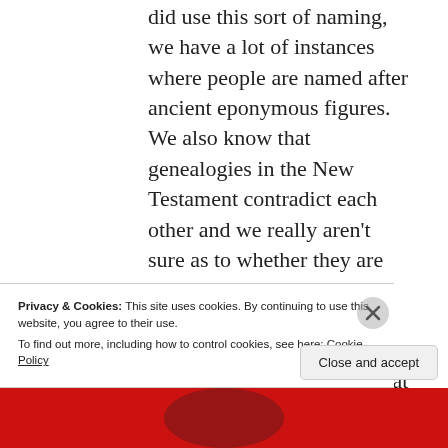did use this sort of naming, we have a lot of instances where people are named after ancient eponymous figures. We also know that genealogies in the New Testament contradict each other and we really aren't sure as to whether they are historical. I can give you citations for 2nd temple naming conventions if you give me a bit of time, but that is the gist of what I feel is a convincing solution.
Privacy & Cookies: This site uses cookies. By continuing to use this website, you agree to their use.
To find out more, including how to control cookies, see here: Cookie Policy